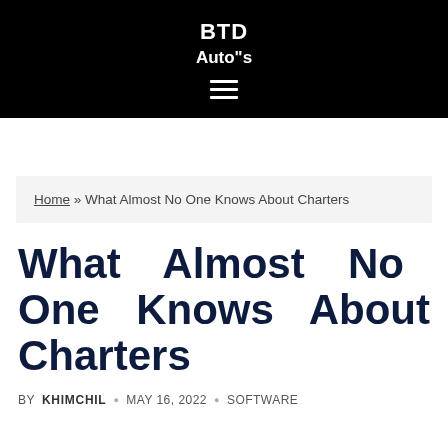BTD
Auto"s
Home » What Almost No One Knows About Charters
What Almost No One Knows About Charters
BY KHIMCHIL • MAY 16, 2022 • SOFTWARE